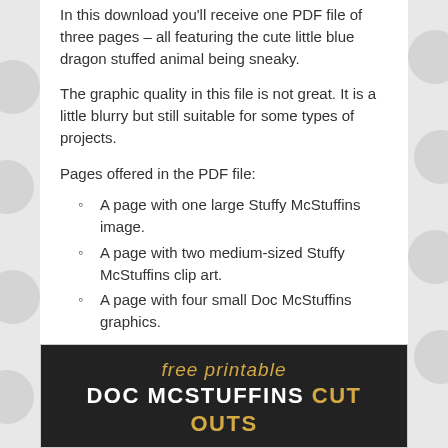In this download you'll receive one PDF file of three pages – all featuring the cute little blue dragon stuffed animal being sneaky.
The graphic quality in this file is not great. It is a little blurry but still suitable for some types of projects.
Pages offered in the PDF file:
A page with one large Stuffy McStuffins image.
A page with two medium-sized Stuffy McStuffins clip art.
A page with four small Doc McStuffins graphics.
[Figure (other): Black banner with text 'free printable DOC MCSTUFFINS CUT OUTS' in gold and white lettering on dark background]